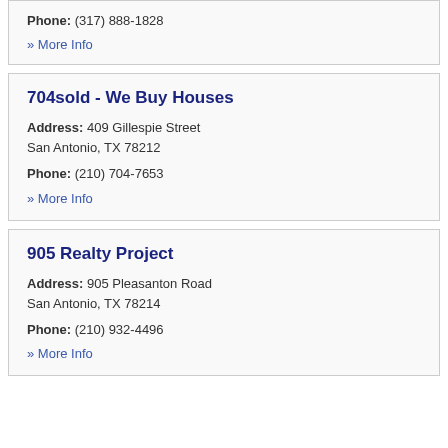Phone: (317) 888-1828
» More Info
704sold - We Buy Houses
Address: 409 Gillespie Street San Antonio, TX 78212
Phone: (210) 704-7653
» More Info
905 Realty Project
Address: 905 Pleasanton Road San Antonio, TX 78214
Phone: (210) 932-4496
» More Info